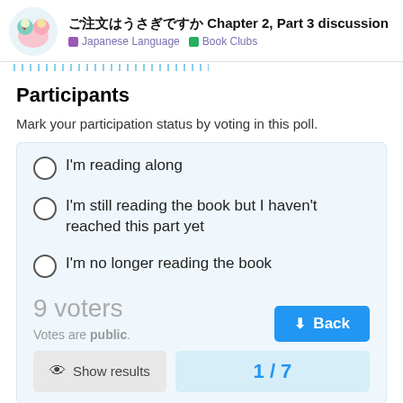ご注文はうさぎですか Chapter 2, Part 3 discussion — Japanese Language | Book Clubs
Participants
Mark your participation status by voting in this poll.
I'm reading along
I'm still reading the book but I haven't reached this part yet
I'm no longer reading the book
9 voters
Votes are public.
Show results
1 / 7